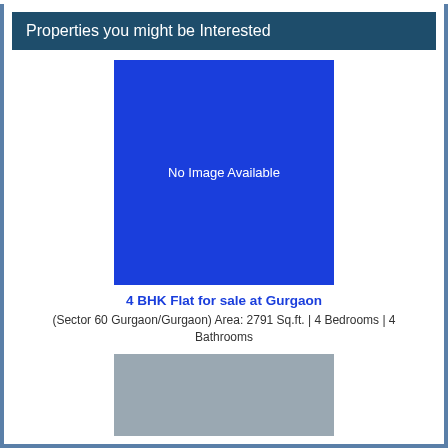Properties you might be Interested
[Figure (photo): Blue placeholder box with text 'No Image Available']
4 BHK Flat for sale at Gurgaon
(Sector 60 Gurgaon/Gurgaon) Area: 2791 Sq.ft. | 4 Bedrooms | 4 Bathrooms
[Figure (photo): Gray placeholder image box (partially visible)]